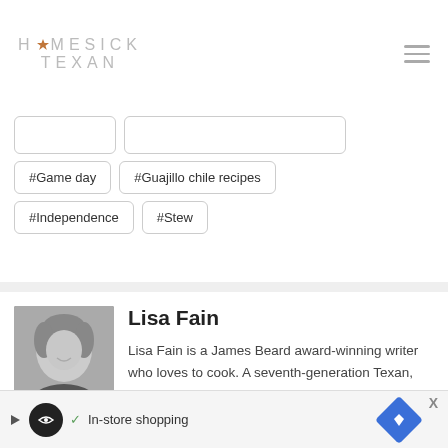HOMESICK TEXAN
#Game day
#Guajillo chile recipes
#Independence
#Stew
Lisa Fain
Lisa Fain is a James Beard award-winning writer who loves to cook. A seventh-generation Texan, she was